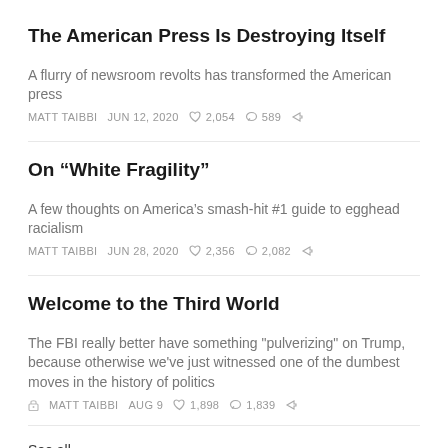The American Press Is Destroying Itself
A flurry of newsroom revolts has transformed the American press
MATT TAIBBI   JUN 12, 2020   ♡ 2,054   ○ 589   ↗
On “White Fragility”
A few thoughts on America’s smash-hit #1 guide to egghead racialism
MATT TAIBBI   JUN 28, 2020   ♡ 2,356   ○ 2,082   ↗
Welcome to the Third World
The FBI really better have something "pulverizing" on Trump, because otherwise we've just witnessed one of the dumbest moves in the history of politics
🔒 MATT TAIBBI   AUG 9   ♡ 1,898   ○ 1,839   ↗
See all ›